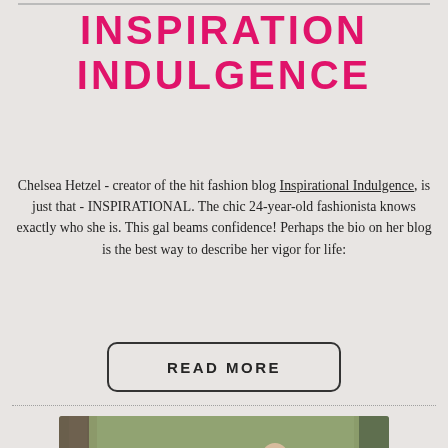INSPIRATION INDULGENCE
Chelsea Hetzel - creator of the hit fashion blog Inspirational Indulgence, is just that - INSPIRATIONAL. The chic 24-year-old fashionista knows exactly who she is. This gal beams confidence! Perhaps the bio on her blog is the best way to describe her vigor for life:
READ MORE
[Figure (photo): Family photo of a woman in a navy dress with white lace detail, a man in a plaid shirt, and a small child between them outdoors among trees]